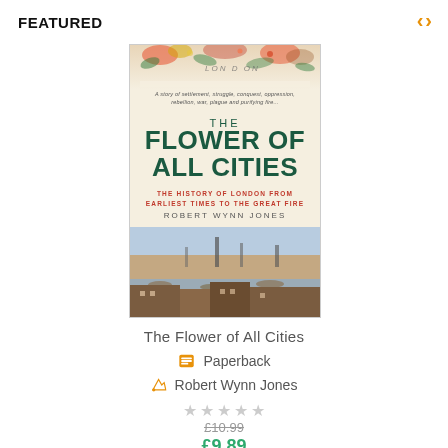FEATURED
[Figure (illustration): Book cover of 'The Flower of All Cities: The History of London from Earliest Times to the Great Fire' by Robert Wynn Jones. Cover shows teal/green title text on cream background with a historical panoramic illustration of London.]
The Flower of All Cities
Paperback
Robert Wynn Jones
★★★★★
£10.99
£9.89